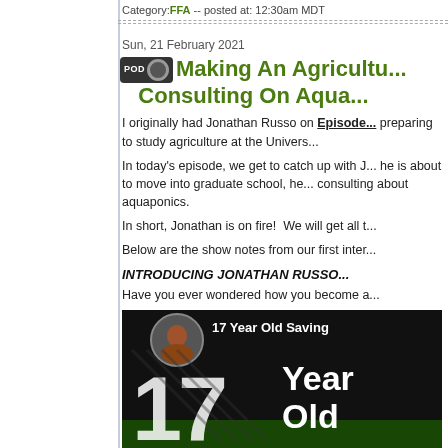Category: FFA -- posted at: 12:30am MDT
Sun, 21 February 2021
Making An Agriculture... Consulting On Aqua...
I originally had Jonathan Russo on Episode... preparing to study agriculture at the Univers...
In today's episode, we get to catch up with J... he is about to move into graduate school, he... consulting about aquaponics.
In short, Jonathan is on fire!  We will get all t...
Below are the show notes from our first inter...
INTRODUCING JONATHAN RUSSO...
Have you ever wondered how you become a...
[Figure (photo): Thumbnail image showing '17 Year Old Saving' text with large '17 Year Old' typography on dark background, with a circular profile photo in top-left corner]